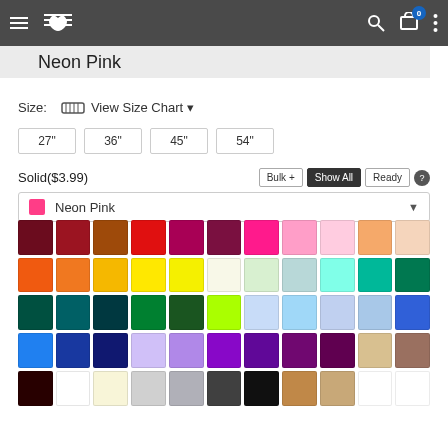Navigation bar with hamburger menu, logo, search, cart (0), and more options
Neon Pink
Size:  View Size Chart ▼
27"
36"
45"
54"
Solid($3.99)   Bulk +   Show All   Ready   ?
■ Neon Pink ▼
[Figure (other): Color swatch grid showing approximately 55 solid fabric color options arranged in 5 rows of 11, including various shades of red, orange, yellow, green, teal, blue, purple, pink, brown, and neutral tones]